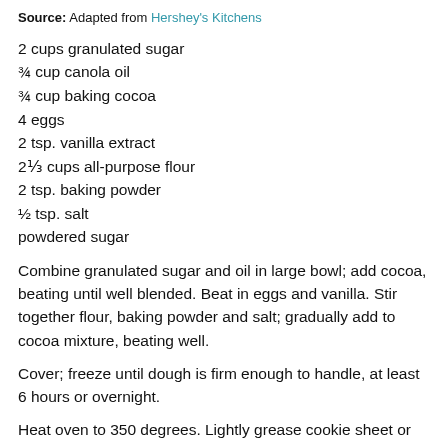Source: Adapted from Hershey's Kitchens
2 cups granulated sugar
¾ cup canola oil
¾ cup baking cocoa
4 eggs
2 tsp. vanilla extract
2⅓ cups all-purpose flour
2 tsp. baking powder
½ tsp. salt
powdered sugar
Combine granulated sugar and oil in large bowl; add cocoa, beating until well blended. Beat in eggs and vanilla. Stir together flour, baking powder and salt; gradually add to cocoa mixture, beating well.
Cover; freeze until dough is firm enough to handle, at least 6 hours or overnight.
Heat oven to 350 degrees. Lightly grease cookie sheet or line with parchment paper.